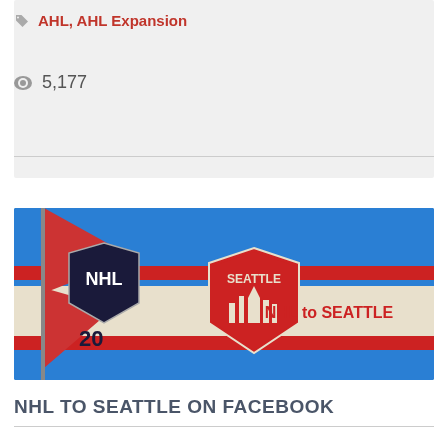AHL, AHL Expansion
5,177
[Figure (photo): NHL to Seattle banner with NHL shield logo on a red flag against a blue sky background, with a Seattle shield logo and 'NHL to SEATTLE' text.]
NHL TO SEATTLE ON FACEBOOK